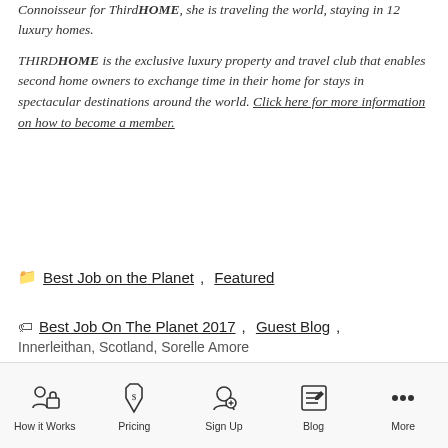Connoisseur for ThirdHOME, she is traveling the world, staying in 12 luxury homes.
THIRDHOME is the exclusive luxury property and travel club that enables second home owners to exchange time in their home for stays in spectacular destinations around the world. Click here for more information on how to become a member.
Best Job on the Planet, Featured
Best Job On The Planet 2017, Guest Blog, Innerleithan, Scotland, Sorelle Amore
How it Works | Pricing | Sign Up | Blog | More